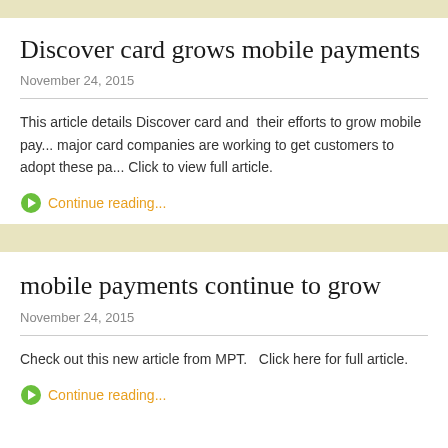Discover card grows mobile payments
November 24, 2015
This article details Discover card and  their efforts to grow mobile pay... major card companies are working to get customers to adopt these pa... Click to view full article.
Continue reading...
mobile payments continue to grow
November 24, 2015
Check out this new article from MPT.   Click here for full article.
Continue reading...